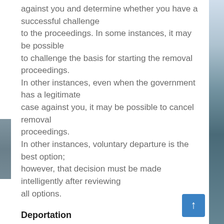against you and determine whether you have a successful challenge to the proceedings. In some instances, it may be possible to challenge the basis for starting the removal proceedings. In other instances, even when the government has a legitimate case against you, it may be possible to cancel removal proceedings. In other instances, voluntary departure is the best option; however, that decision must be made intelligently after reviewing all options.
Deportation
A foreign national who is placed in deportation or removal proceedings must be well prepared and knowledgeable about the consequences of deportation or removal in order to